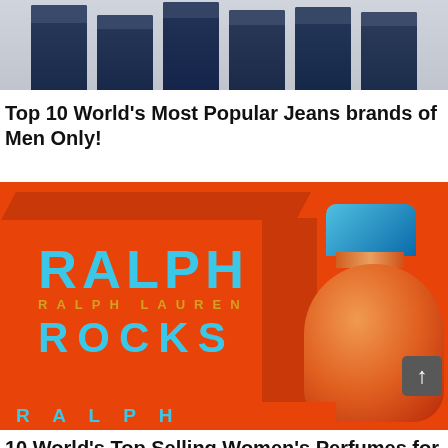[Figure (photo): Multiple pairs of dark navy/indigo jeans hanging on a white brick wall, showing the rolled cuffs and legs.]
Top 10 World's Most Popular Jeans brands of Men Only!
[Figure (photo): Ralph Lauren Rocks perfume - orange box and orange bottle with blue cap, with RALPH LAUREN ROCKS text in blue and gold lettering on the box.]
10 World's Top Selling Women's Perfumes for